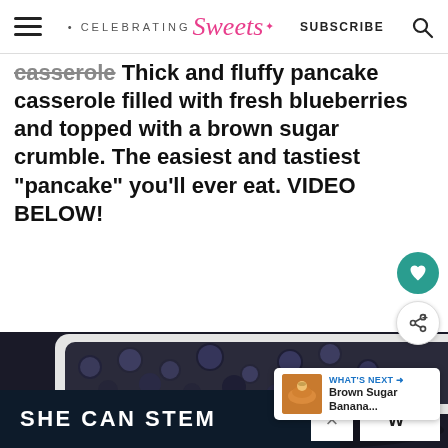CELEBRATING Sweets — SUBSCRIBE
casserole — Thick and fluffy pancake casserole filled with fresh blueberries and topped with a brown sugar crumble. The easiest and tastiest "pancake" you'll ever eat. VIDEO BELOW!
[Figure (photo): Close-up photo of a baking dish with blueberries on top, partially visible. Below is an ad banner reading SHE CAN STEM. A What's Next overlay shows Brown Sugar Banana... with a thumbnail.]